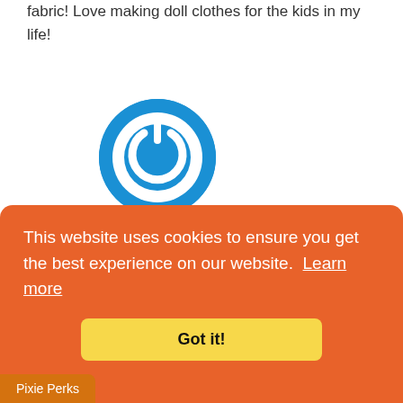fabric! Love making doll clothes for the kids in my life!
[Figure (logo): Blue circular power button icon/logo]
Marcy Mahle
December 25, 2021
My favorite thing about sewing is creating wonderful clothing for my many different
This website uses cookies to ensure you get the best experience on our website.  Learn more
Got it!
Pixie Perks